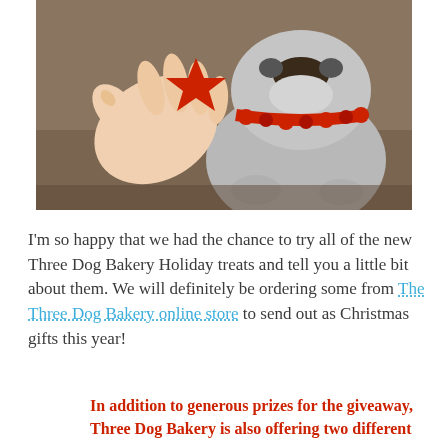[Figure (photo): A hand holding a red star-shaped dog treat toward a gray/white bulldog wearing a red Christmas collar/garland. The dog appears to be eagerly reaching for the treat. Background is brownish/tan.]
I'm so happy that we had the chance to try all of the new Three Dog Bakery Holiday treats and tell you a little bit about them. We will definitely be ordering some from The Three Dog Bakery online store to send out as Christmas gifts this year!
In addition to generous prizes for the giveaway, Three Dog Bakery is also offering two different